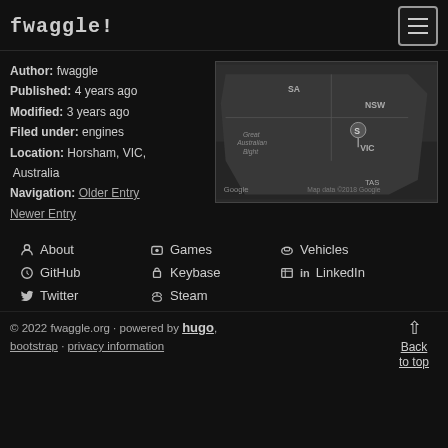fwaggle!
Author: fwaggle
Published: 4 years ago
Modified: 3 years ago
Filed under: engines
Location: Horsham, VIC, Australia
[Figure (map): Google map showing southern Australia with a pin near Horsham, VIC. Labels visible: SA, NSW, Great Australian Bight, VIC, TAS. Map data ©2018 Google]
Navigation: Older Entry Newer Entry
About
Games
Vehicles
GitHub
Keybase
LinkedIn
Twitter
Steam
© 2022 fwaggle.org · powered by hugo, bootstrap · privacy information